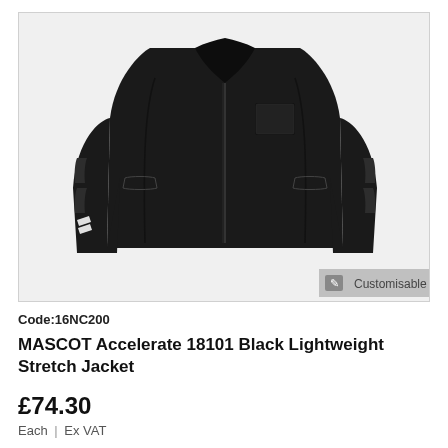[Figure (photo): Black MASCOT Accelerate 18101 lightweight stretch jacket displayed on a mannequin/model, full-body view, with reflective chevron accents on the sleeves, a chest patch pocket, and a centre-front zip. Background is light grey. A 'Customisable' badge with pencil icon appears in the bottom-right corner of the image frame.]
Code:16NC200
MASCOT Accelerate 18101 Black Lightweight Stretch Jacket
£74.30
Each | Ex VAT